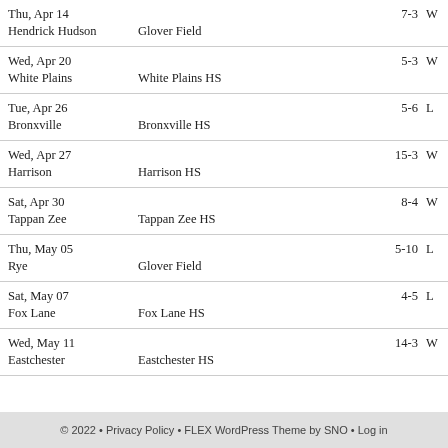| Date/Opponent | Location | Score | W/L |
| --- | --- | --- | --- |
| Thu, Apr 14 |  | 7-3 | W |
| Hendrick Hudson | Glover Field |  |  |
| Wed, Apr 20 |  | 5-3 | W |
| White Plains | White Plains HS |  |  |
| Tue, Apr 26 |  | 5-6 | L |
| Bronxville | Bronxville HS |  |  |
| Wed, Apr 27 |  | 15-3 | W |
| Harrison | Harrison HS |  |  |
| Sat, Apr 30 |  | 8-4 | W |
| Tappan Zee | Tappan Zee HS |  |  |
| Thu, May 05 |  | 5-10 | L |
| Rye | Glover Field |  |  |
| Sat, May 07 |  | 4-5 | L |
| Fox Lane | Fox Lane HS |  |  |
| Wed, May 11 |  | 14-3 | W |
| Eastchester | Eastchester HS |  |  |
© 2022 • Privacy Policy • FLEX WordPress Theme by SNO • Log in